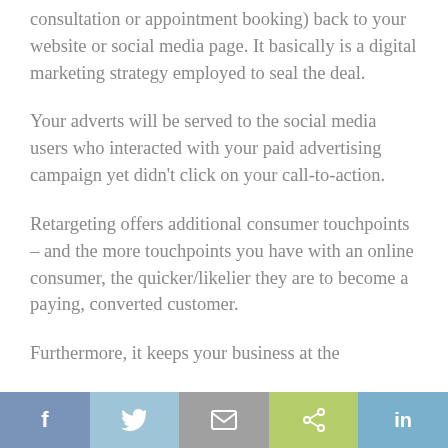consultation or appointment booking) back to your website or social media page. It basically is a digital marketing strategy employed to seal the deal.
Your adverts will be served to the social media users who interacted with your paid advertising campaign yet didn't click on your call-to-action.
Retargeting offers additional consumer touchpoints – and the more touchpoints you have with an online consumer, the quicker/likelier they are to become a paying, converted customer.
Furthermore, it keeps your business at the
[Figure (infographic): Social media sharing bar with five buttons: Facebook (f), Twitter (bird), Email (envelope), Share (<), LinkedIn (in)]